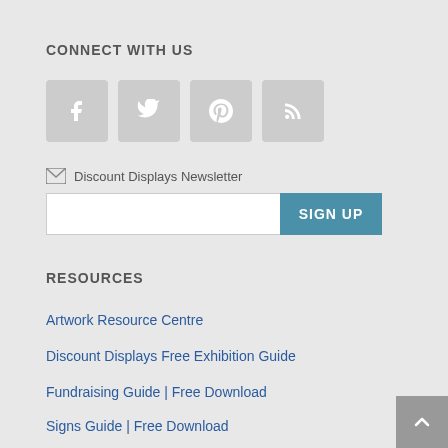CONNECT WITH US
[Figure (infographic): Four social media icon buttons: Facebook, Twitter, Pinterest, RSS feed — grey rounded square buttons with white icons]
Discount Displays Newsletter
SIGN UP
RESOURCES
Artwork Resource Centre
Discount Displays Free Exhibition Guide
Fundraising Guide | Free Download
Signs Guide | Free Download